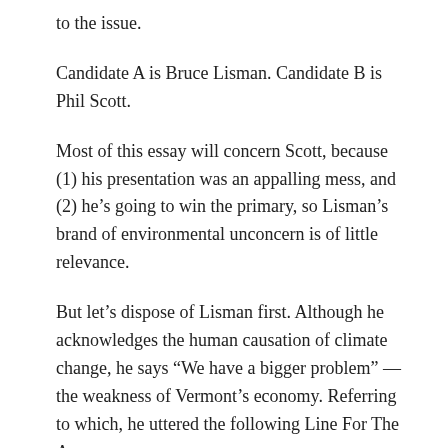to the issue.
Candidate A is Bruce Lisman. Candidate B is Phil Scott.
Most of this essay will concern Scott, because (1) his presentation was an appalling mess, and (2) he’s going to win the primary, so Lisman’s brand of environmental unconcern is of little relevance.
But let’s dispose of Lisman first. Although he acknowledges the human causation of climate change, he says “We have a bigger problem” — the weakness of Vermont’s economy. Referring to which, he uttered the following Line For The Ages.
We have an alarm clock that’s ticking away and, frankly, ringing off the wall.